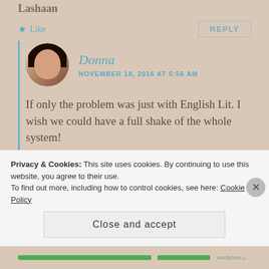Lashaan
★ Like
REPLY
Donna
NOVEMBER 18, 2016 AT 5:56 AM
If only the problem was just with English Lit. I wish we could have a full shake of the whole system!
★ Liked by 1person
REPLY
Privacy & Cookies: This site uses cookies. By continuing to use this website, you agree to their use.
To find out more, including how to control cookies, see here: Cookie Policy
Close and accept